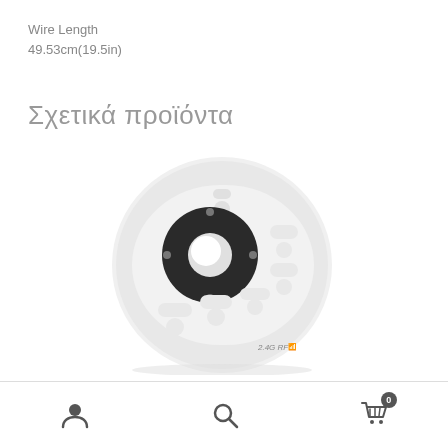Wire Length
49.53cm(19.5in)
Σχετικά προϊόντα
[Figure (photo): White 2.4G RF remote control with circular dial, multiple zone buttons, and labeled '2.4G RF']
User icon | Search icon | Cart icon with badge 0